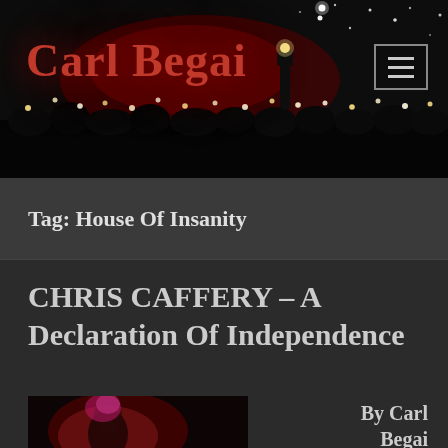[Figure (photo): Dark concert banner image showing crowd with raised hands and lit phone lights against a night sky, with a red glowing haze. 'Carl Begai' site title overlaid in large red serif font. A hamburger menu icon in a box at top right.]
Carl Begai
Tag: House Of Insanity
CHRIS CAFFERY – A Declaration Of Independence
[Figure (photo): Partial thumbnail image of a musician on stage with red lighting, appearing at bottom left of page.]
By Carl Begai